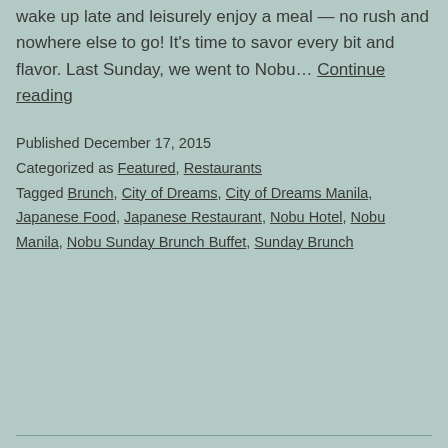wake up late and leisurely enjoy a meal — no rush and nowhere else to go! It's time to savor every bit and flavor. Last Sunday, we went to Nobu… Continue reading
Published December 17, 2015
Categorized as Featured, Restaurants
Tagged Brunch, City of Dreams, City of Dreams Manila, Japanese Food, Japanese Restaurant, Nobu Hotel, Nobu Manila, Nobu Sunday Brunch Buffet, Sunday Brunch